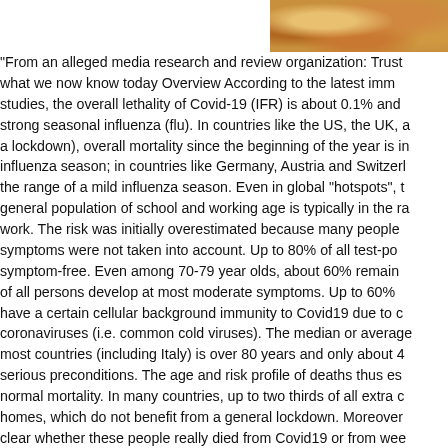[Figure (photo): Partial image of food (appears to be a pizza or similar dish) visible in the top right corner of the page.]
"From an alleged media research and review organization: Trust what we now know today Overview According to the latest immune studies, the overall lethality of Covid-19 (IFR) is about 0.1% and strong seasonal influenza (flu). In countries like the US, the UK, a lockdown), overall mortality since the beginning of the year is in influenza season; in countries like Germany, Austria and Switzerl the range of a mild influenza season. Even in global "hotspots", t general population of school and working age is typically in the ra work. The risk was initially overestimated because many people symptoms were not taken into account. Up to 80% of all test-po symptom-free. Even among 70-79 year olds, about 60% remain of all persons develop at most moderate symptoms. Up to 60% have a certain cellular background immunity to Covid19 due to co coronaviruses (i.e. common cold viruses). The median or average most countries (including Italy) is over 80 years and only about 4 serious preconditions. The age and risk profile of deaths thus es normal mortality. In many countries, up to two thirds of all extra c homes, which do not benefit from a general lockdown. Moreover clear whether these people really died from Covid19 or from wee